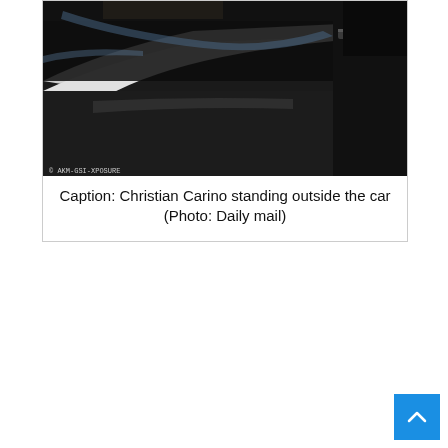[Figure (photo): Close-up photo of a dark car exterior showing the window frame, roof rail, and door panel with reflections. Watermark reads '© AKM-GSI-XPOSURE' in the bottom-left corner.]
Caption: Christian Carino standing outside the car (Photo: Daily mail)